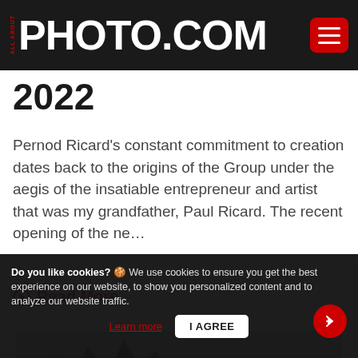ALL ABOUT PHOTO.COM
2022
Pernod Ricard's constant commitment to creation dates back to the origins of the Group under the aegis of the insatiable entrepreneur and artist that was my grandfather, Paul Ricard. The recent opening of the ne…
Read More
[Figure (photo): Black and white photo showing trees/landscape]
Do you like cookies? 🍪 We use cookies to ensure you get the best experience on our website, to show you personalized content and to analyze our website traffic. Learn more  I AGREE